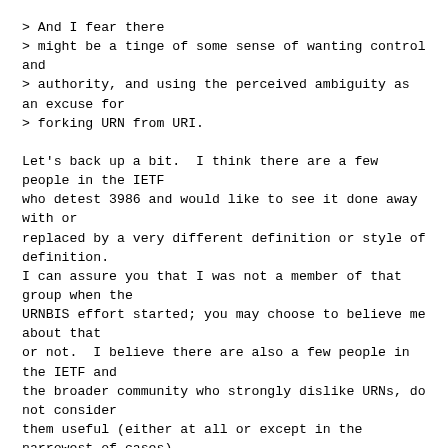> And I fear there
> might be a tinge of some sense of wanting control and
> authority, and using the perceived ambiguity as an excuse for
> forking URN from URI.

Let's back up a bit.  I think there are a few people in the IETF
who detest 3986 and would like to see it done away with or
replaced by a very different definition or style of definition.
I can assure you that I was not a member of that group when the
URNBIS effort started; you may choose to believe me about that
or not.  I believe there are also a few people in the IETF and
the broader community who strongly dislike URNs, do not consider
them useful (either at all or except in the narrowest of cases),
and who would be delighted to see them either eliminated or
sufficiently crippled that it becomes obvious to others that
they are not really useful.  I assume that both